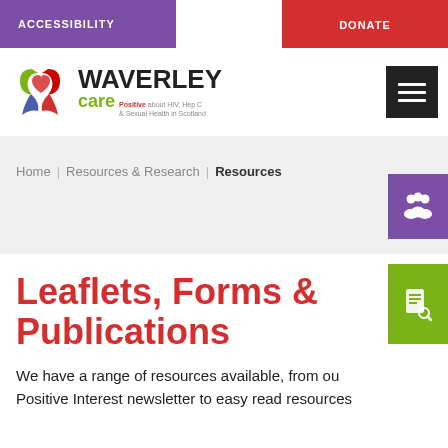ACCESSIBILITY | DONATE
[Figure (logo): Waverley Care logo with ribbon icon. Text: WAVERLEY care - Positive about HIV, Hep C & Sexual Health in Scotland]
Home | Resources & Research | Resources
Leaflets, Forms & Publications
We have a range of resources available, from our Positive Interest newsletter to easy read resources